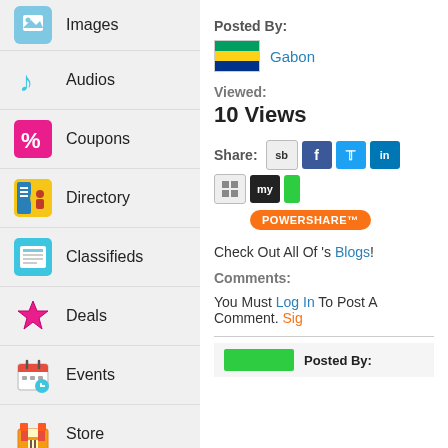Images
Audios
Coupons
Directory
Classifieds
Deals
Events
Store
Posted By:
Gabon
Viewed:
10 Views
Share:
POWERSHARE™
Check Out All Of 's Blogs!
Comments:
You Must Log In To Post A Comment. Sig
Posted By: